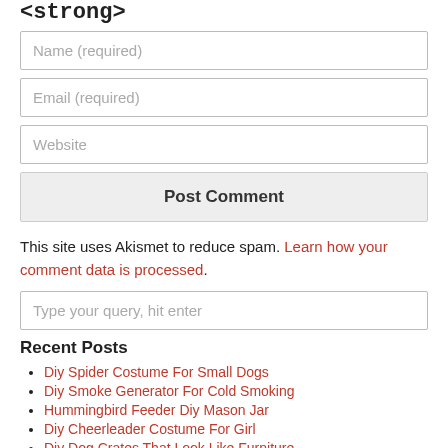<strong>
Name (required)
Email (required)
Website
Post Comment
This site uses Akismet to reduce spam. Learn how your comment data is processed.
Type your query, hit enter
Recent Posts
Diy Spider Costume For Small Dogs
Diy Smoke Generator For Cold Smoking
Hummingbird Feeder Diy Mason Jar
Diy Cheerleader Costume For Girl
Diy Dog Crates That Look Like Furniture
Diy Sewing Machine Cabinet Plans
Diy Garden Furniture